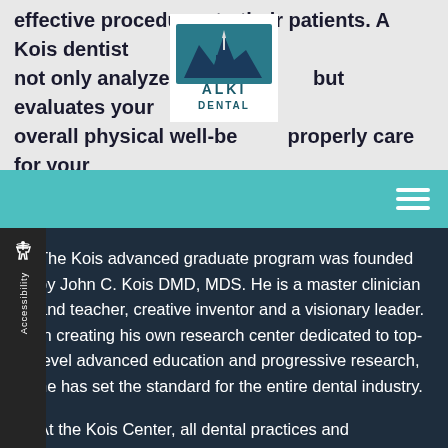effective procedures to their patients. A Kois dentist not only analyzes your but evaluates your overall physical well-being properly care for your
[Figure (logo): Alki Dental logo — white background with blue mountain skyline silhouette above 'ALKI DENTAL' text in dark teal]
The Kois advanced graduate program was founded by John C. Kois DMD, MDS. He is a master clinician and teacher, creative inventor and a visionary leader. In creating his own research center dedicated to top-level advanced education and progressive research, he has set the standard for the entire dental industry.
At the Kois Center, all dental practices and procedures are persistently questioned, analyzed, tested with science and refined to maintain a